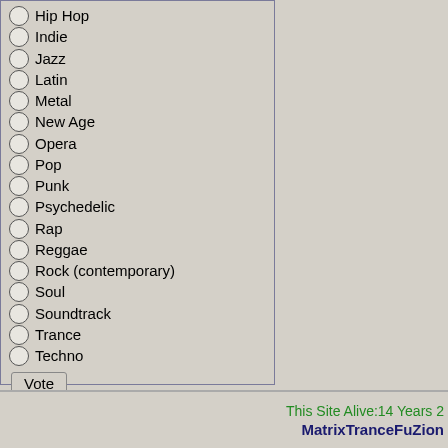Hip Hop
Indie
Jazz
Latin
Metal
New Age
Opera
Pop
Punk
Psychedelic
Rap
Reggae
Rock (contemporary)
Soul
Soundtrack
Trance
Techno
Vote
Results
This Site Alive:14 Years 2  MatrixTranceFuZion